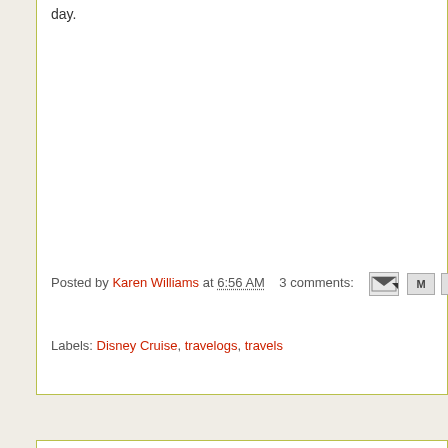day.
Posted by Karen Williams at 6:56 AM    3 comments:
Labels: Disney Cruise, travelogs, travels
Newer Posts
Home
Subscribe to: Posts (Atom)
Awesome Inc. th